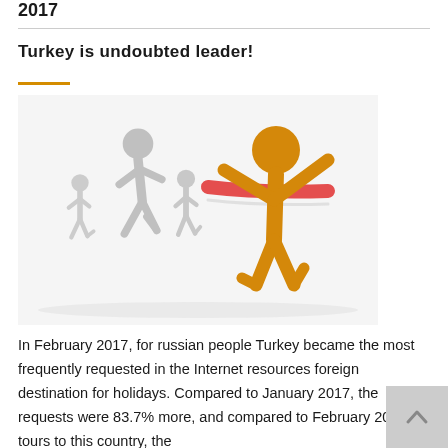2017
Turkey is undoubted leader!
[Figure (illustration): Illustration of running figures: three grey stick figures running behind one orange/yellow stick figure breaking through a red finish-line ribbon, symbolizing Turkey as the undoubted leader.]
In February 2017, for russian people Turkey became the most frequently requested in the Internet resources foreign destination for holidays. Compared to January 2017, the requests were 83.7% more, and compared to February 2016, tours to this country, the